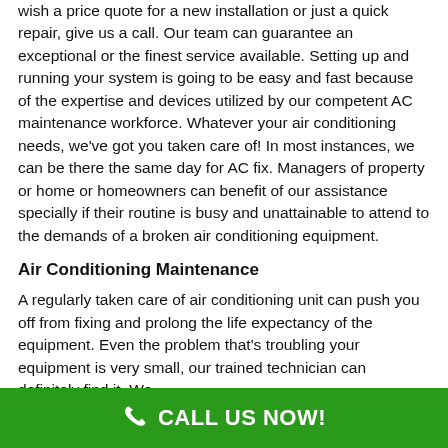wish a price quote for a new installation or just a quick repair, give us a call. Our team can guarantee an exceptional or the finest service available. Setting up and running your system is going to be easy and fast because of the expertise and devices utilized by our competent AC maintenance workforce. Whatever your air conditioning needs, we've got you taken care of! In most instances, we can be there the same day for AC fix. Managers of property or home or homeowners can benefit of our assistance specially if their routine is busy and unattainable to attend to the demands of a broken air conditioning equipment.
Air Conditioning Maintenance
A regularly taken care of air conditioning unit can push you off from fixing and prolong the life expectancy of the equipment. Even the problem that's troubling your equipment is very small, our trained technician can definitely find it. We
CALL US NOW!